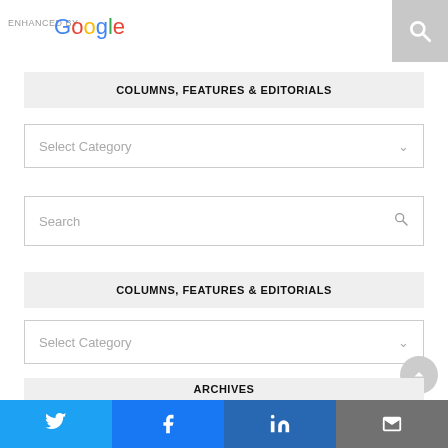[Figure (screenshot): Google enhanced by search bar with magnifying glass icon]
COLUMNS, FEATURES & EDITORIALS
[Figure (screenshot): Select Category dropdown]
[Figure (screenshot): Search input box with magnifying glass icon]
COLUMNS, FEATURES & EDITORIALS
[Figure (screenshot): Select Category dropdown]
ARCHIVES
[Figure (screenshot): Social share bar with Twitter, Facebook, LinkedIn, Email buttons]